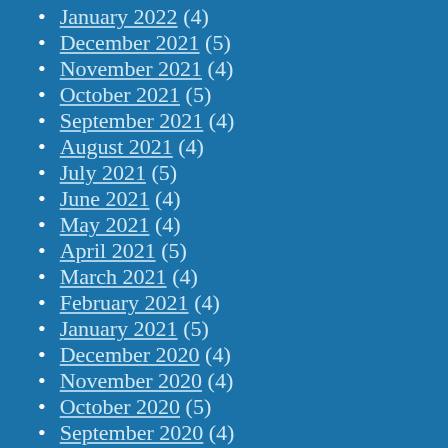January 2022 (4)
December 2021 (5)
November 2021 (4)
October 2021 (5)
September 2021 (4)
August 2021 (4)
July 2021 (5)
June 2021 (4)
May 2021 (4)
April 2021 (5)
March 2021 (4)
February 2021 (4)
January 2021 (5)
December 2020 (4)
November 2020 (4)
October 2020 (5)
September 2020 (4)